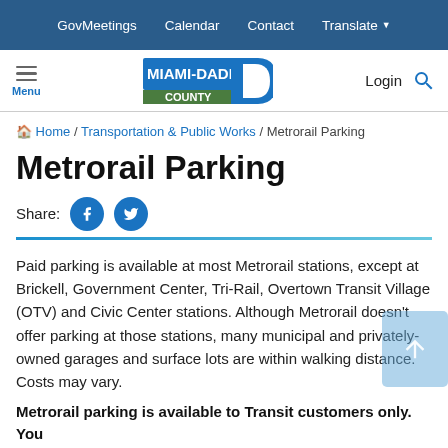GovMeetings   Calendar   Contact   Translate
[Figure (logo): Miami-Dade County logo with hamburger menu, Login and search icon]
Home / Transportation & Public Works / Metrorail Parking
Metrorail Parking
Share:
Paid parking is available at most Metrorail stations, except at Brickell, Government Center, Tri-Rail, Overtown Transit Village (OTV) and Civic Center stations. Although Metrorail doesn't offer parking at those stations, many municipal and privately-owned garages and surface lots are within walking distance. Costs may vary.
Metrorail parking is available to Transit customers only. You